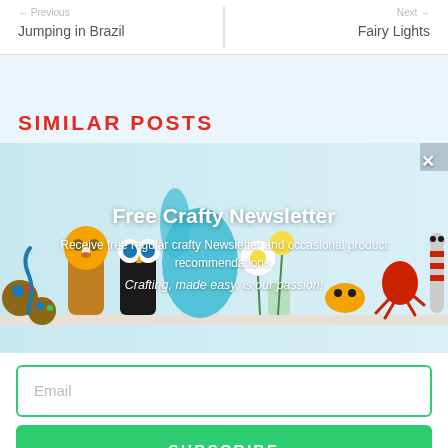Jumping in Brazil
Fairy Lights
SIMILAR POSTS
[Figure (photo): Photo of colorful handmade craft toy characters (animals/puppets) displayed on a shelf with flowers in a vase. Used as background for newsletter popup overlay.]
Free Crafty Newsletter
Receive free regular crafty Newsletter and occasional product recommendations.
Crafting, made easy, is our passion!
Email
SUBSCRIBE